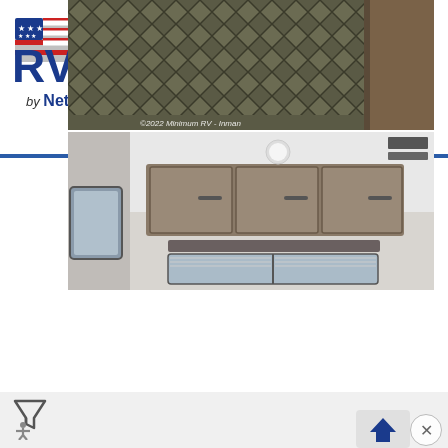[Figure (logo): RVUSA.com by NetSource media logo with American flag graphic]
[Figure (photo): Interior RV photo showing ceiling with diamond-pattern padded liner and wooden cabinet edge on right]
[Figure (photo): Interior RV photo showing living area with gray-brown wooden upper cabinets, white ceiling with round light fixture, window with blind, and slide-out section visible on left]
©2022 Minimum RV - Inman